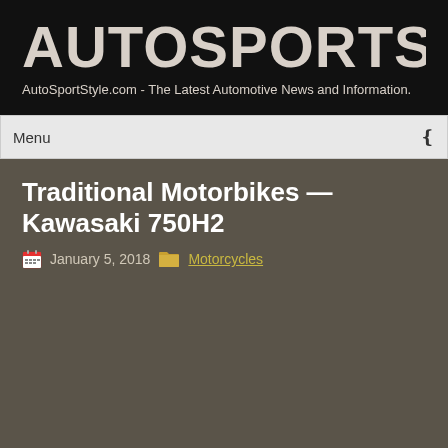AUTOSPORTSTYLE
AutoSportStyle.com - The Latest Automotive News and Information.
Traditional Motorbikes — Kawasaki 750H2
January 5, 2018  Motorcycles